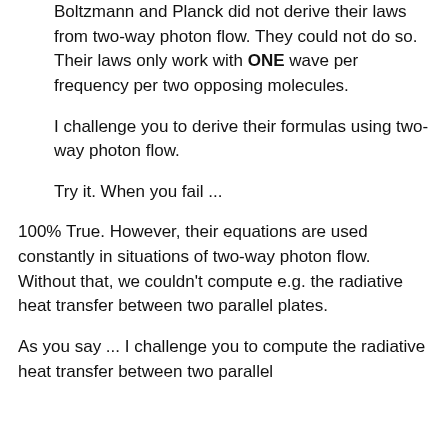Boltzmann and Planck did not derive their laws from two-way photon flow. They could not do so. Their laws only work with ONE wave per frequency per two opposing molecules.
I challenge you to derive their formulas using two-way photon flow.
Try it. When you fail ...
100% True. However, their equations are used constantly in situations of two-way photon flow. Without that, we couldn’t compute e.g. the radiative heat transfer between two parallel plates.
As you say ... I challenge you to compute the radiative heat transfer between two parallel